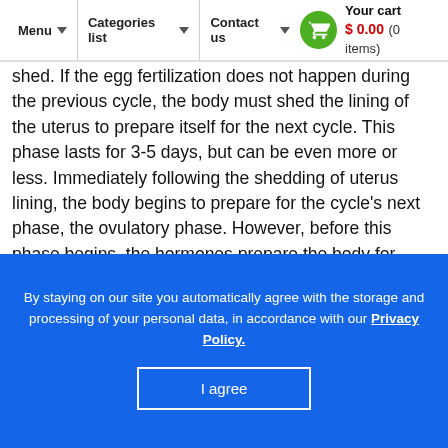Menu | Categories list | Contact us | Your cart $0.00 (0 items)
shed. If the egg fertilization does not happen during the previous cycle, the body must shed the lining of the uterus to prepare itself for the next cycle. This phase lasts for 3-5 days, but can be even more or less. Immediately following the shedding of uterus lining, the body begins to prepare for the cycle's next phase, the ovulatory phase. However, before this phase begins, the hormones prepare the body for ovulation. The pituitary gland releases two hormones, Follicle Stimulating Hormone (FSH) and Luteinizing Hormone (LH). The FSH stimulates a follicle to grow and the inside egg to ripen. LH stimulates the follicle to manufacture and secrete estrogen. When the estrogen amount reaches a certain level, it causes the pituitary gland to release LH surge. 24-36 hours post the LH surge, the follicle
By staying on our site you automatically agree with the storage and processing of your personal data, in accordance with our Privacy Policy.
I agree